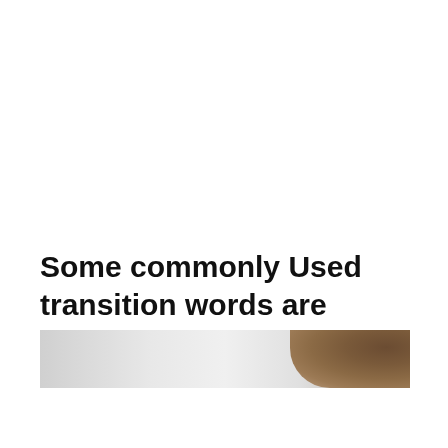Some commonly Used transition words are
[Figure (photo): Partial photo of a person with brown hair, cropped to show top of head/hair against a light gray background]